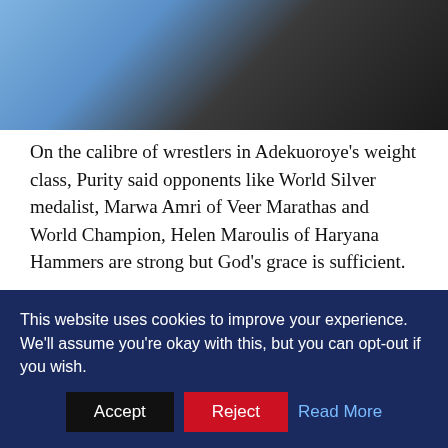[Figure (photo): Two people photographed from the chest area; one in a blue shirt on the left, one in a dark jacket on the right]
On the calibre of wrestlers in Adekuoroye's weight class, Purity said opponents like World Silver medalist, Marwa Amri of Veer Marathas and World Champion, Helen Maroulis of Haryana Hammers are strong but God's grace is sufficient.
“Marwa and Helen are strong opponents, we have watched their videos we’ve planned ahead of the challenges and by God’s Grace we will defeat them” the Nigeria female head coach said. He said, “the league is an avenue to compete with the world class athletes, it help in terms of exposure and popularity of our athletes globally”
This website uses cookies to improve your experience. We'll assume you're okay with this, but you can opt-out if you wish.